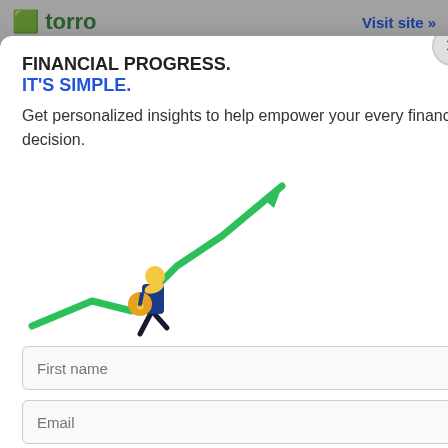torro | Visit site »
thought of going to their local bank for business FINANCIAL PROGRESS. you have to jump through every hoop possible and even after months, you don't qualify yet. This is just one reason people are turning to lenders ders that people are reaching to. Torro works with their "syndicated network of investors and financial resources" to try to secure the best funding possible for your business needs. They are not the lenders themselves are a lender marketplace. The good news is that if you do qualify for funding, you should be able to hear the various terms each lender can then offer you and choose the best one that works
[Figure (infographic): Modal popup with financial progress illustration. Shows a person walking up a green upward arrow/line chart, carrying a coin bag. Green arrow pointing up-right. Background is white modal card.]
FINANCIAL PROGRESS.
IT'S SIMPLE.
Get personalized insights to help empower your every financial decision.
First name
Email
Send